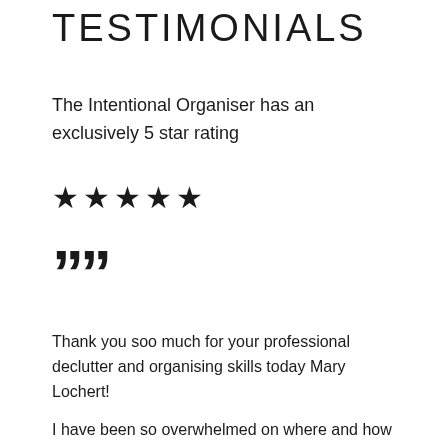TESTIMONIALS
The Intentional Organiser has an exclusively 5 star rating
★★★★★
❞
Thank you soo much for your professional declutter and organising skills today Mary Lochert!
I have been so overwhelmed on where and how to start, but you certainly helped so much with the process that I have been